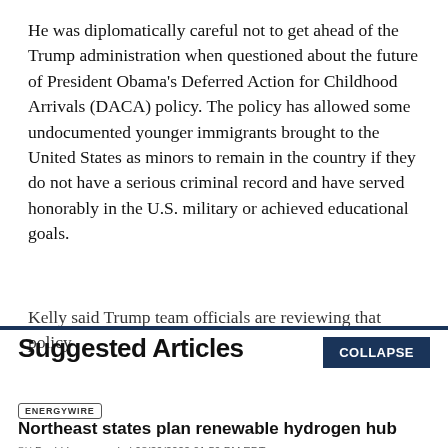He was diplomatically careful not to get ahead of the Trump administration when questioned about the future of President Obama's Deferred Action for Childhood Arrivals (DACA) policy. The policy has allowed some undocumented younger immigrants brought to the United States as minors to remain in the country if they do not have a serious criminal record and have served honorably in the U.S. military or achieved educational goals.
Kelly said Trump team officials are reviewing that policy
Suggested Articles
COLLAPSE
ENERGYWIRE
Northeast states plan renewable hydrogen hub
BY David Iaconangelo | 08/29/2022 01:59 PM EDT
Read More >>
ENERGYWIRE
Trouble on pipeline's path hits home for Manchin